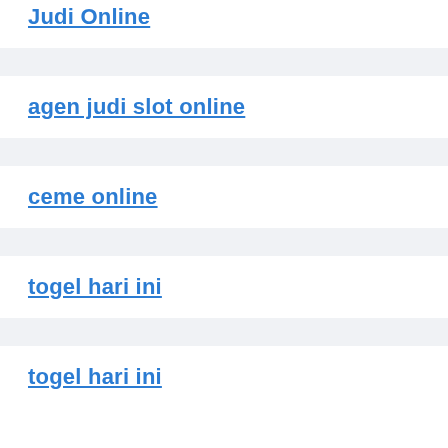Judi Online
agen judi slot online
ceme online
togel hari ini
togel hari ini